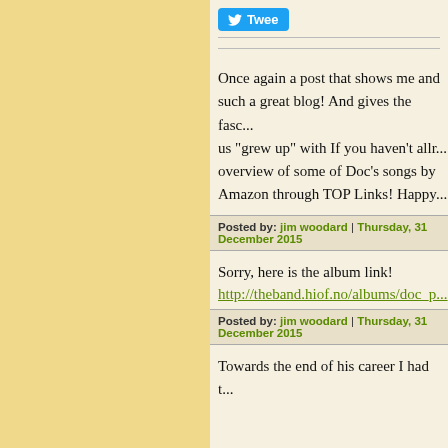[Figure (other): Twitter Tweet button (partially visible, cropped at right edge)]
Once again a post that shows me and such a great blog! And gives the fas... us "grew up" with If you haven't allr... overview of some of Doc's songs by... Amazon through TOP Links! Happy...
Posted by: jim woodard | Thursday, 31 December 2015
Sorry, here is the album link!
http://theband.hiof.no/albums/doc_p...
Posted by: jim woodard | Thursday, 31 December 2015
Towards the end of his career I had t...